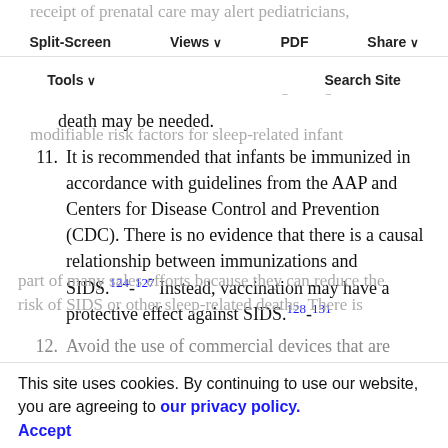Split-Screen | Views | PDF | Share | Tools | Search Site
receipt of prenatal care may alert pediatricians, other physicians, and nonphysician clinicians that additional attention to and education regarding modifiable risk factors for sleep-related infant death may be needed.
11. It is recommended that infants be immunized in accordance with guidelines from the AAP and Centers for Disease Control and Prevention (CDC). There is no evidence that there is a causal relationship between immunizations and SIDS.124-127 Instead, vaccination may have a protective effect against SIDS.128-131
12. Avoid the use of commercial devices that are...
This site uses cookies. By continuing to use our website, you are agreeing to our privacy policy. Accept